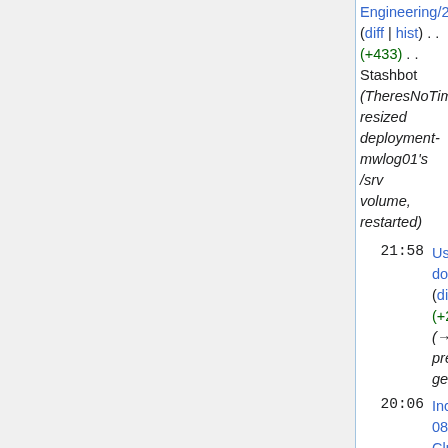(+433) . . Stashbot (TheresNoTime: resized deployment-mwlog01's /srv volume, restarted)
21:58 User:Quiddity/How does it all work (diff | hist) . . (+271) . . Quiddity (→Examples: add presentation that gets close)
20:06 Incidents/2022-08-16 Beta Cluster 502 (diff | hist) . .